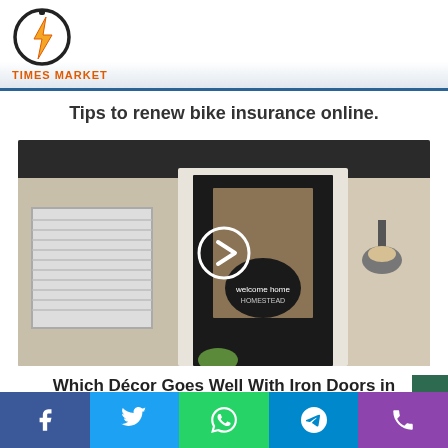TIMES MARKET
Tips to renew bike insurance online.
[Figure (photo): Exterior photo of a home entrance with a black iron door showing a 'welcome home homestead' wreath sign, with shuttered windows on the left and an outdoor wall lamp on the right. A circular play/next button overlay is centered on the image.]
Which Décor Goes Well With Iron Doors in Nevada?
[Figure (other): Social media share buttons bar at the bottom: Facebook (blue), Twitter (light blue), WhatsApp (green), Telegram (blue), Phone/call (purple)]